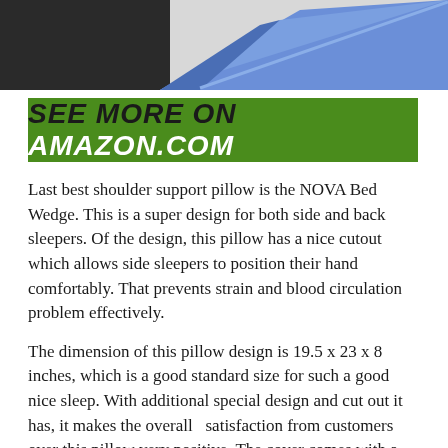[Figure (photo): Partial top view of a blue wedge pillow product photo, cropped at top of page]
[Figure (infographic): Green banner with white and black italic bold text reading SEE MORE ON AMAZON.COM]
Last best shoulder support pillow is the NOVA Bed Wedge. This is a super design for both side and back sleepers. Of the design, this pillow has a nice cutout which allows side sleepers to position their hand comfortably. That prevents strain and blood circulation problem effectively.
The dimension of this pillow design is 19.5 x 23 x 8 inches, which is a good standard size for such a good nice sleep. With additional special design and cut out it has, it makes the overall  satisfaction from customers over this pillow very positive. The cover comes with a zipper and could be easily removed for machine wash, in the meantime.
All over the quality of this pillow is quit good. You could have a look over its shape and design. If you think it would serve you great too, you could have a